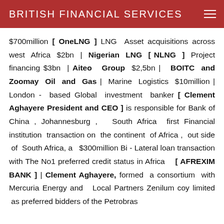BRITISH FINANCIAL SERVICES
$700million [ OneLNG ] LNG Asset acquisitions across west Africa $2bn | Nigerian LNG [ NLNG ] Project financing $3bn | Aiteo Group $2,5bn | BOITC and Zoomay Oil and Gas | Marine Logistics $10million | London - based Global investment banker [ Clement Aghayere President and CEO ] is responsible for Bank of China , Johannesburg , South Africa first Financial institution transaction on the continent of Africa , out side of South Africa, a $300million Bi - Lateral loan transaction with The No1 preferred credit status in Africa [ AFREXIM BANK ] | Clement Aghayere, formed a consortium with Mercuria Energy and Local Partners Zenilum coy limited as preferred bidders of the Petrobras